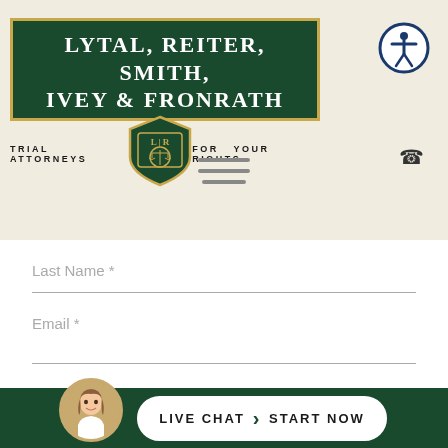[Figure (logo): Lytal, Reiter, Smith, Ivey & Fronrath law firm logo on dark green background with gold border, shield emblem with LR initials and scales of justice, tagline: TRIAL ATTORNEYS FOR YOUR RIGHTS]
[Figure (other): Accessibility icon button - circular blue border with white person/accessibility symbol]
[Figure (other): Hamburger menu icon - three horizontal gray lines]
Last Name *
Email *
[Figure (photo): Live chat avatar - circular photo of smiling woman with brown hair]
LIVE CHAT | START NOW